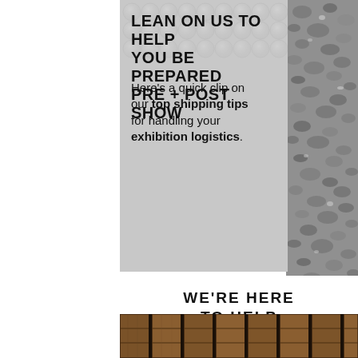LEAN ON US TO HELP YOU BE PREPARED PRE + POST SHOW
Here's a quick clip on our top shipping tips for handling your exhibition logistics.
WE'RE HERE TO HELP
[Figure (photo): Wooden warehouse crate panels / loading dock doors at the bottom of the page]
[Figure (photo): Gray gravel/rock texture on the right side of the page]